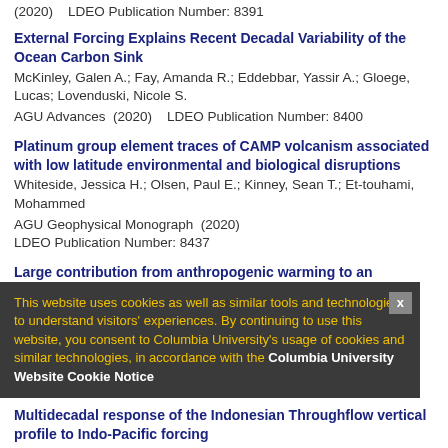(2020)    LDEO Publication Number: 8391
External Forcing Explains Recent Decadal Variability of the Ocean Carbon Sink
McKinley, Galen A.; Fay, Amanda R.; Eddebbar, Yassir A.; Gloege, Lucas; Lovenduski, Nicole S.
AGU Advances  (2020)    LDEO Publication Number: 8400
Platinum group element traces of CAMP volcanism associated with low latitude environmental and biological disruptions
Whiteside, Jessica H.; Olsen, Paul E.; Kinney, Sean T.; Et-touhami, Mohammed
AGU Geophysical Monograph  (2020)
LDEO Publication Number: 8437
Large contribution from anthropogenic warming to an emerging North American megadrought
Williams, Park A.; Cook, Edward R.; Smerdon, Jason, E.; Cook, Benjamin I.; Abatzoglou, John T.; Bolles, Kasey; Baek, Seung H.; Badger, Andrew M.; Livneh, Ben
Science  (2020)    LDEO Publication Number: 8359
Multidecadal response of the Indonesian Throughflow vertical profile to Indo-Pacific forcing